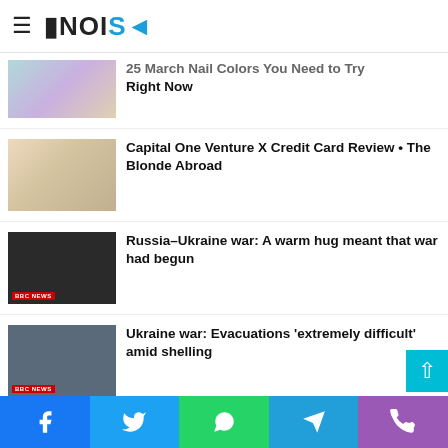NOISE (logo)
25 March Nail Colors You Need to Try Right Now
Capital One Venture X Credit Card Review • The Blonde Abroad
Russia–Ukraine war: A warm hug meant that war had begun
Ukraine war: Evacuations 'extremely difficult' amid shelling
Social sharing bar: Facebook, Twitter, WhatsApp, Telegram, Phone